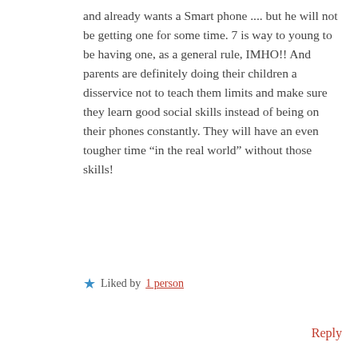and already wants a Smart phone .... but he will not be getting one for some time. 7 is way to young to be having one, as a general rule, IMHO!! And parents are definitely doing their children a disservice not to teach them limits and make sure they learn good social skills instead of being on their phones constantly. They will have an even tougher time “in the real world” without those skills!
★ Liked by 1person
Reply